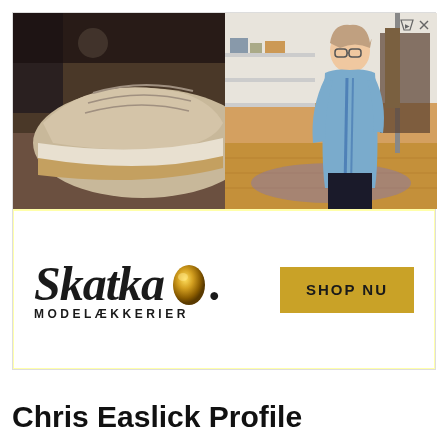[Figure (photo): Advertisement banner with yellow background. Top half shows a retail store photo split into two: left side shows close-up of beige/cream sneaker shoes, right side shows a woman with glasses standing in a clothing boutique store. Bottom half shows white background with Skatka Modelækkerier logo (italic serif font with golden egg icon) on the left, and a golden/yellow 'SHOP NU' button on the right.]
Chris Easlick Profile